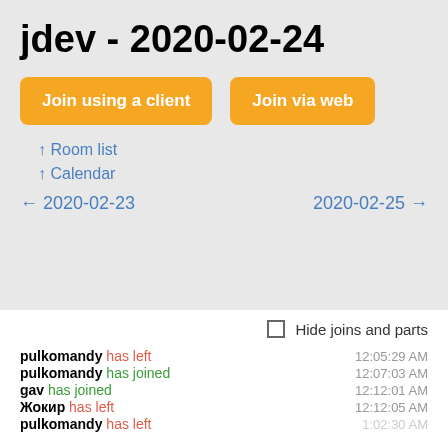jdev - 2020-02-24
Join using a client
Join via web
↑ Room list
↑ Calendar
← 2020-02-23
2020-02-25 →
Hide joins and parts
pulkomandy has left   12:05:29 AM
pulkomandy has joined   12:07:03 AM
gav has joined   12:12:01 AM
Жокир has left   12:12:05 AM
pulkomandy has left   1:02:30 AM